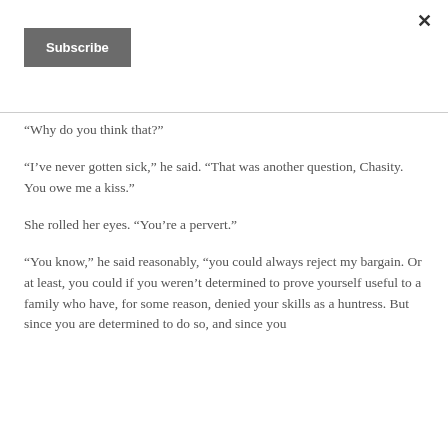×
Subscribe
“Why do you think that?”
“I’ve never gotten sick,” he said. “That was another question, Chasity. You owe me a kiss.”
She rolled her eyes. “You’re a pervert.”
“You know,” he said reasonably, “you could always reject my bargain. Or at least, you could if you weren’t determined to prove yourself useful to a family who have, for some reason, denied your skills as a huntress. But since you are determined to do so, and since you